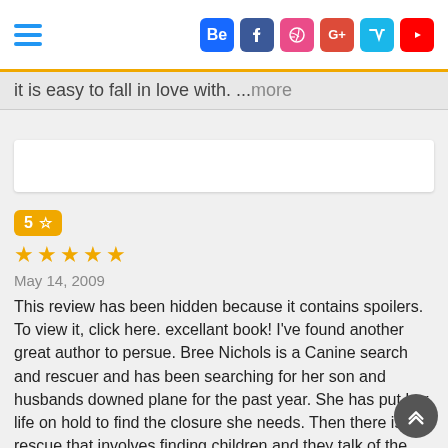Navigation bar with hamburger menu and social icons: Behance, Facebook, Dribbble, Google+, Vimeo, YouTube
it is easy to fall in love with. ...more
5 ☆ — May 14, 2009 — This review has been hidden because it contains spoilers. To view it, click here. excellant book! I've found another great author to persue. Bree Nichols is a Canine search and rescuer and has been searching for her son and husbands downed plane for the past year. She has put her life on hold to find the closure she needs. Then there is a rescue that involves finding children and they talk of the witch in the woods that fed them and then brought them to the road where they were rescued. Their accounts were thought to be imaginative, until more people and later a dead woman excellant book! I've found another great author to persue. Bree Nichols is a Canine search and rescuer and has been searching for her son and husbands downed plane for the past year. She has put her life on hold to find the closure she needs. Then there is